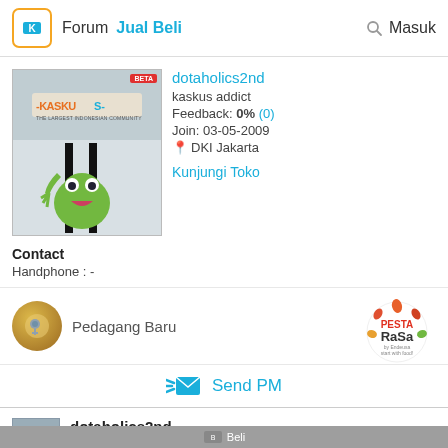Forum  Jual Beli  Masuk
[Figure (screenshot): Kaskus user profile avatar showing cartoon frog character behind bars, with Kaskus logo banner at top]
dotaholics2nd
kaskus addict
Feedback: 0% (0)
Join: 03-05-2009
DKI Jakarta
Kunjungi Toko
Contact
Handphone : -
Pedagang Baru
[Figure (logo): Pesta Rasa by Endeusa - start with food! circular logo]
Send PM
dotaholics2nd
Kaskus Addict | 12-05-2015 11:09
#2
www.bikersneedshop.com